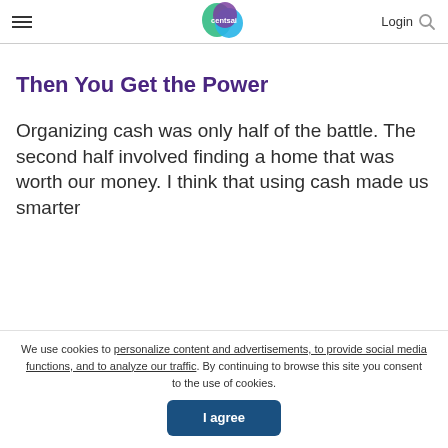centsai | Login
Then You Get the Power
Organizing cash was only half of the battle. The second half involved finding a home that was worth our money. I think that using cash made us smarter
We use cookies to personalize content and advertisements, to provide social media functions, and to analyze our traffic. By continuing to browse this site you consent to the use of cookies. I agree